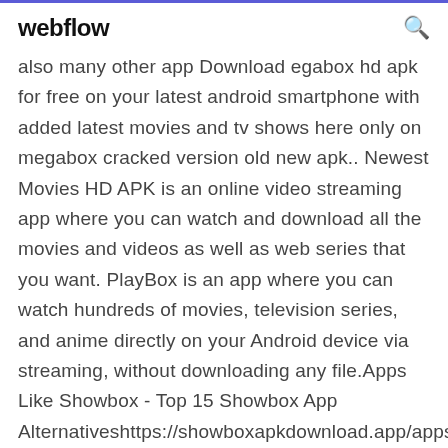webflow
also many other app Download egabox hd apk for free on your latest android smartphone with added latest movies and tv shows here only on megabox cracked version old new apk.. Newest Movies HD APK is an online video streaming app where you can watch and download all the movies and videos as well as web series that you want. PlayBox is an app where you can watch hundreds of movies, television series, and anime directly on your Android device via streaming, without downloading any file.Apps Like Showbox - Top 15 Showbox App Alternativeshttps://showboxapkdownload.app/apps-like-showbox-top-15-showbox...ShowBox APK was one of the most popular platforms used for